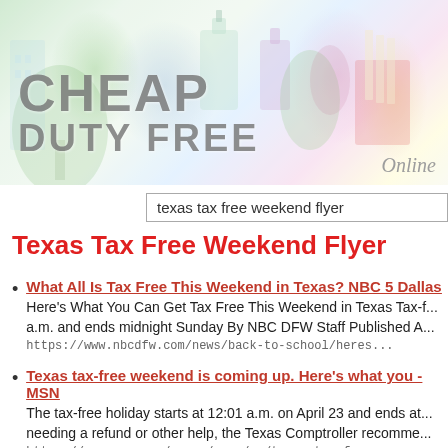[Figure (illustration): Cheap Duty Free website banner with colorful duty-free products (perfume, cigarettes, green scenery) and large grey text reading CHEAP DUTY FREE, with italic 'Online' text bottom right]
texas tax free weekend flyer
Texas Tax Free Weekend Flyer
What All Is Tax Free This Weekend in Texas? NBC 5 Dallas
Here's What You Can Get Tax Free This Weekend in Texas Tax-f... a.m. and ends midnight Sunday By NBC DFW Staff Published A...
https://www.nbcdfw.com/news/back-to-school/heres...
Texas tax-free weekend is coming up. Here's what you - MSN
The tax-free holiday starts at 12:01 a.m. on April 23 and ends at... needing a refund or other help, the Texas Comptroller recomme...
https://www.msn.com/en-us/news/us/texas-tax-free...